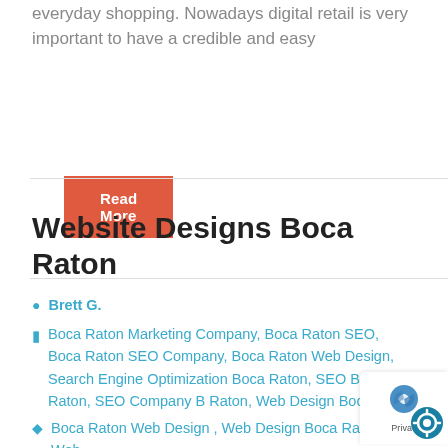everyday shopping. Nowadays digital retail is very important to have a credible and easy
Read More
Website Designs Boca Raton
Brett G.
Boca Raton Marketing Company, Boca Raton SEO, Boca Raton SEO Company, Boca Raton Web Design, Search Engine Optimization Boca Raton, SEO Boca Raton, SEO Company Boca Raton, Web Design Boca Raton
Boca Raton Web Design , Web Design Boca Raton , Web